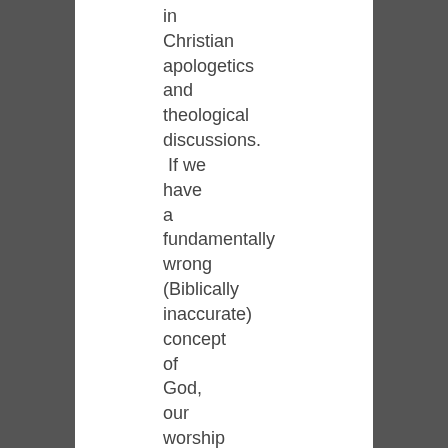in Christian apologetics and theological discussions. If we have a fundamentally wrong (Biblically inaccurate) concept of God, our worship will cease to be worship.